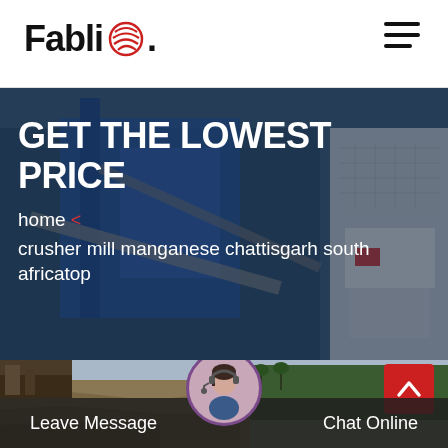FabliQ
[Figure (photo): Industrial mining/crushing machinery equipment with conveyor belts and blue structure, dark overlay background]
GET THE LOWEST PRICE
home < crusher mill manganese chattisgarh south africatop
[Figure (photo): Aerial view of open pit mine or quarry with rocky terrain and forested hillside]
Leave Message   Chat Online